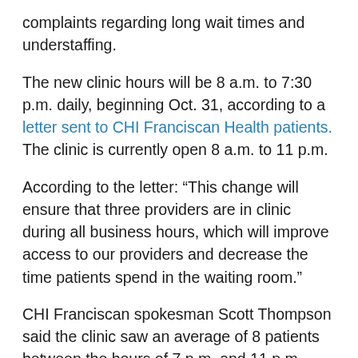complaints regarding long wait times and understaffing.
The new clinic hours will be 8 a.m. to 7:30 p.m. daily, beginning Oct. 31, according to a letter sent to CHI Franciscan Health patients. The clinic is currently open 8 a.m. to 11 p.m.
According to the letter: “This change will ensure that three providers are in clinic during all business hours, which will improve access to our providers and decrease the time patients spend in the waiting room.”
CHI Franciscan spokesman Scott Thompson said the clinic saw an average of 8 patients between the hours of 7 p.m. and 11 p.m.
“We are much busier during the day,” Thompson said.